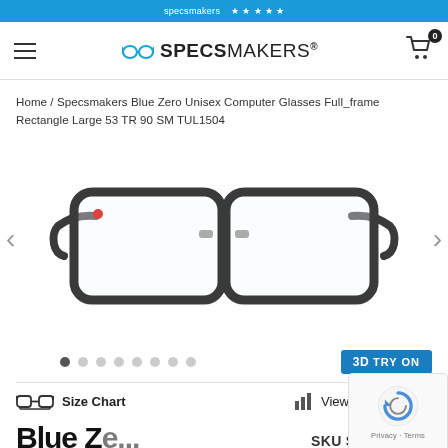specsmakers - header navigation
Home / Specsmakers Blue Zero Unisex Computer Glasses Full_frame Rectangle Large 53 TR 90 SM TUL1504
[Figure (photo): Product photo of dark gray/black rectangular full-frame unisex computer glasses on white background]
3D TRY ON
Size Chart    View measurement
Blue Zero   SKU SM TUL1504